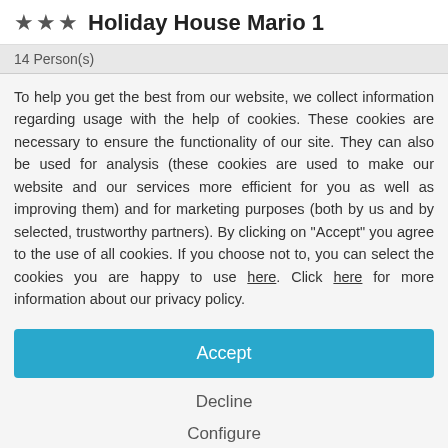★★★ Holiday House Mario 1
14 Person(s)
To help you get the best from our website, we collect information regarding usage with the help of cookies. These cookies are necessary to ensure the functionality of our site. They can also be used for analysis (these cookies are used to make our website and our services more efficient for you as well as improving them) and for marketing purposes (both by us and by selected, trustworthy partners). By clicking on "Accept" you agree to the use of all cookies. If you choose not to, you can select the cookies you are happy to use here. Click here for more information about our privacy policy.
Accept
Decline
Configure